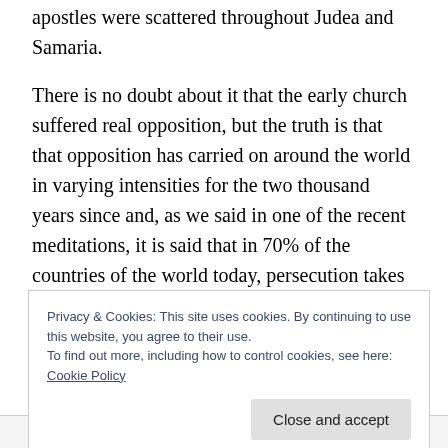apostles were scattered throughout Judea and Samaria.
There is no doubt about it that the early church suffered real opposition, but the truth is that that opposition has carried on around the world in varying intensities for the two thousand years since and, as we said in one of the recent meditations, it is said that in 70% of the countries of the world today, persecution takes place in some form or other.
Now we have touched on this subject more than once already, simply because it occurs in Acts a number of
Privacy & Cookies: This site uses cookies. By continuing to use this website, you agree to their use.
To find out more, including how to control cookies, see here: Cookie Policy
Close and accept